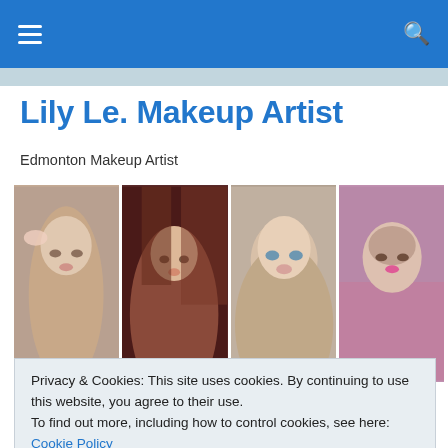Navigation bar with hamburger menu and search icon
Lily Le. Makeup Artist
Edmonton Makeup Artist
[Figure (photo): Grid of four portrait photos of women with professional makeup]
Privacy & Cookies: This site uses cookies. By continuing to use this website, you agree to their use.
To find out more, including how to control cookies, see here: Cookie Policy
Makeup Artist